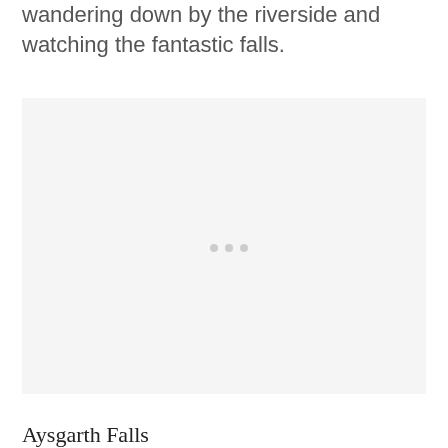wandering down by the riverside and watching the fantastic falls.
[Figure (photo): A large light gray placeholder image box representing a photo of Aysgarth Falls]
Aysgarth Falls